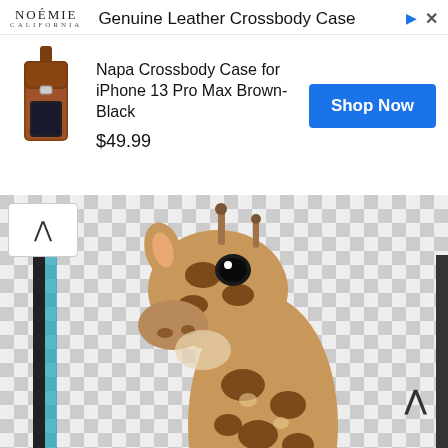[Figure (screenshot): Advertisement banner for Noemie California brand showing a Genuine Leather Crossbody Case. Product: Napa Crossbody Case for iPhone 13 Pro Max Brown-Black, priced at $49.99, with a blue Shop Now button. Below the ad is a screenshot of an image editor showing a giraffe head and neck on a transparent (checkerboard) background.]
NOÉMIE
CALIFORNIA
Genuine Leather Crossbody Case
Napa Crossbody Case for iPhone 13 Pro Max Brown-Black
$49.99
Shop Now